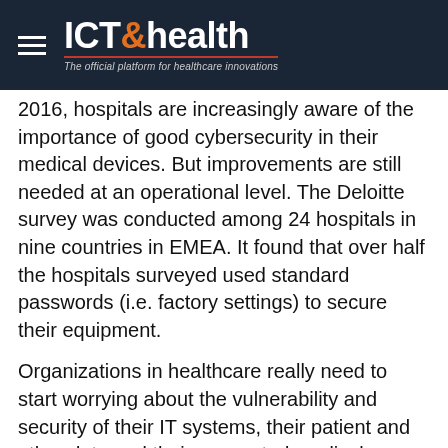ICT& health – The official platform for healthcare innovations
2016, hospitals are increasingly aware of the importance of good cybersecurity in their medical devices. But improvements are still needed at an operational level. The Deloitte survey was conducted among 24 hospitals in nine countries in EMEA. It found that over half the hospitals surveyed used standard passwords (i.e. factory settings) to secure their equipment.
Organizations in healthcare really need to start worrying about the vulnerability and security of their IT systems, their patient and other data and their connected medical equipment. Earlier in September Intel security released a report stating ransomware is beginning to have a real impact on the health sector. Later that month security supplier Gemalto reports in its Data breach Index the health sector suffers over a quarter of all reported data